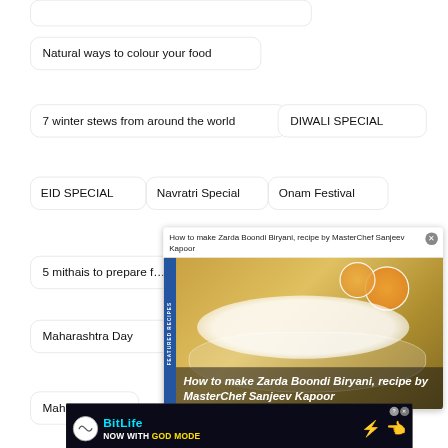Natural ways to colour your food
7 winter stews from around the world
DIWALI SPECIAL
EID SPECIAL
Navratri Special
Onam Festival
5 mithais to prepare f…
Maharashtra Day
Mah…
[Figure (screenshot): Featured Recipes overlay panel showing 'How to make Zarda Boondi Biryani, recipe by MasterChef Sanjeev Kapoor' with a food photo and blue sidebar label 'FEATURED RECIPES']
[Figure (screenshot): BitLife advertisement banner: 'NOW WITH GOD MODE' on dark background with cartoon hands and help/close buttons]